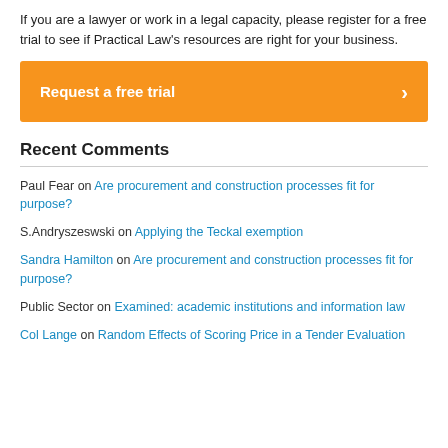If you are a lawyer or work in a legal capacity, please register for a free trial to see if Practical Law's resources are right for your business.
[Figure (other): Orange call-to-action button labeled 'Request a free trial' with a right-arrow chevron on the right side]
Recent Comments
Paul Fear on Are procurement and construction processes fit for purpose?
S.Andryszeswski on Applying the Teckal exemption
Sandra Hamilton on Are procurement and construction processes fit for purpose?
Public Sector on Examined: academic institutions and information law
Col Lange on Random Effects of Scoring Price in a Tender Evaluation